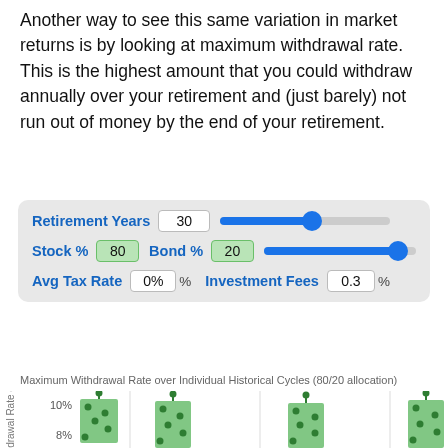Another way to see this same variation in market returns is by looking at maximum withdrawal rate. This is the highest amount that you could withdraw annually over your retirement and (just barely) not run out of money by the end of your retirement.
[Figure (screenshot): Interactive controls panel with Retirement Years slider set to 30, Stock % at 80, Bond % at 20, Avg Tax Rate 0%, Investment Fees 0.3%]
Maximum Withdrawal Rate over Individual Historical Cycles (80/20 allocation)
[Figure (bar-chart): Bar chart showing Maximum Withdrawal Rate (%) over Individual Historical Cycles with 80/20 allocation. Y-axis shows 8% and 10% labels. Green bars with dots showing variation across cycles, some reaching above 10%.]